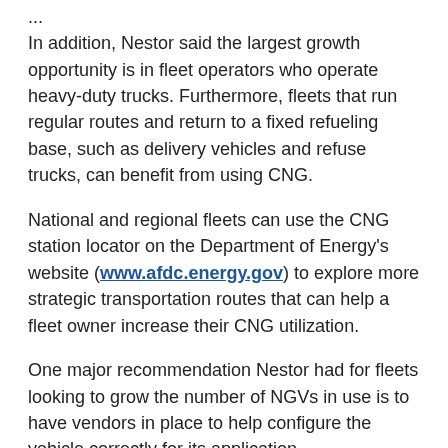...
In addition, Nestor said the largest growth opportunity is in fleet operators who operate heavy-duty trucks. Furthermore, fleets that run regular routes and return to a fixed refueling base, such as delivery vehicles and refuse trucks, can benefit from using CNG.
National and regional fleets can use the CNG station locator on the Department of Energy’s website (www.afdc.energy.gov) to explore more strategic transportation routes that can help a fleet owner increase their CNG utilization.
One major recommendation Nestor had for fleets looking to grow the number of NGVs in use is to have vendors in place to help configure the vehicle correctly for its application.
“In addition, have access to maintenance providers who have facilities set up to work on natural gas vehicles with